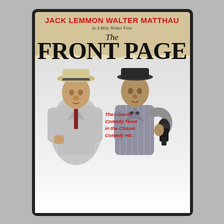[Figure (photo): DVD cover for 'The Front Page' (1974) directed by Billy Wilder. Top section shows a newspaper-style header in aged/cream color with bold black title 'The Front Page' and 'The' in italic script above it. Actor names 'JACK LEMMON' and 'WALTER MATTHAU' appear in large red bold text at the top, with 'In A Billy Wilder Film' below in smaller black italic. Center-right has red italic tagline: 'The Classic Comedy Team in the Classic Comedy Hit.' Lower portion shows two men in period suits and hats against a white/grey background — left figure in light grey suit with boater hat, right figure in pinstripe suit with dark fedora holding an old-fashioned telephone. The whole image is enclosed in a dark grey DVD case with rounded corners.]